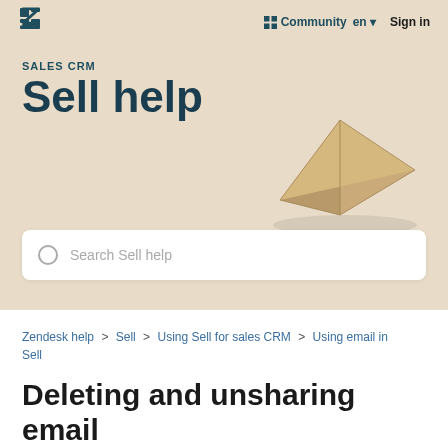Community  en  Sign in
SALES CRM
Sell help
[Figure (illustration): 3D tan/beige angular geometric shape resembling a folded paper or origami prism on a warm beige background]
Search Sell help
Zendesk help > Sell > Using Sell for sales CRM > Using email in Sell
Deleting and unsharing email